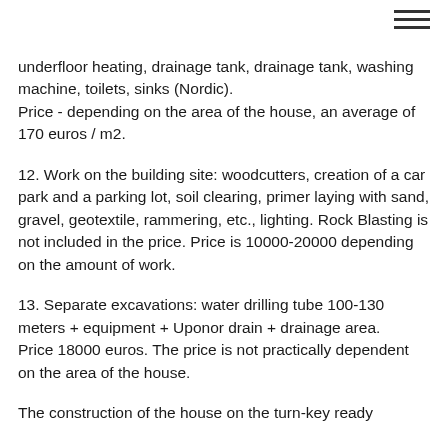underfloor heating, drainage tank, drainage tank, washing machine, toilets, sinks (Nordic). Price - depending on the area of the house, an average of 170 euros / m2.
12. Work on the building site: woodcutters, creation of a car park and a parking lot, soil clearing, primer laying with sand, gravel, geotextile, rammering, etc., lighting. Rock Blasting is not included in the price. Price is 10000-20000 depending on the amount of work.
13. Separate excavations: water drilling tube 100-130 meters + equipment + Uponor drain + drainage area.
Price 18000 euros. The price is not practically dependent on the area of the house.
The construction of the house on the turn-key ready